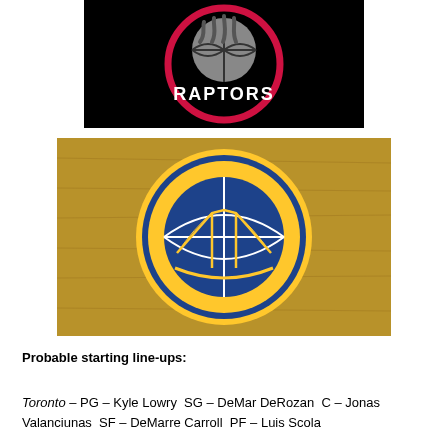[Figure (logo): Toronto Raptors NBA team logo on black background — claw marks through a basketball with 'RAPTORS' text in a red circle]
[Figure (logo): Golden State Warriors NBA team logo on wood-grain background — blue and gold basketball with Bay Bridge design inside]
Probable starting line-ups:
Toronto – PG – Kyle Lowry  SG – DeMar DeRozan  C – Jonas Valanciunas  SF – DeMarre Carroll  PF – Luis Scola